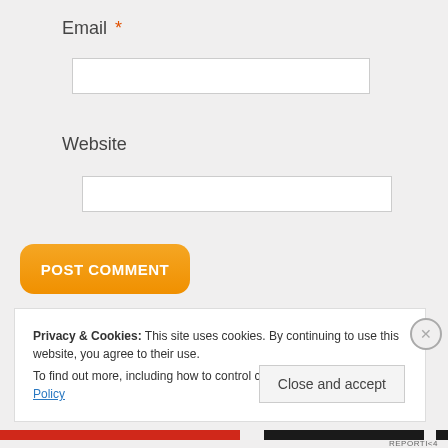Email *
[Figure (screenshot): Email text input field (empty white rectangle)]
Website
[Figure (screenshot): Website text input field (empty white rectangle)]
POST COMMENT
Privacy & Cookies: This site uses cookies. By continuing to use this website, you agree to their use.
To find out more, including how to control cookies, see here: Cookie Policy
Close and accept